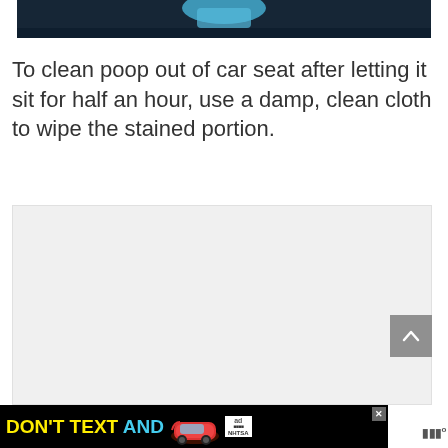[Figure (photo): Top portion of a photo showing a dark background with a blue rubber glove visible, partial crop]
To clean poop out of car seat after letting it sit for half an hour, use a damp, clean cloth to wipe the stained portion.
[Figure (other): Advertisement placeholder area (light gray box)]
[Figure (other): DON'T TEXT AND [car image] advertisement banner - NHTSA ad at bottom of page]